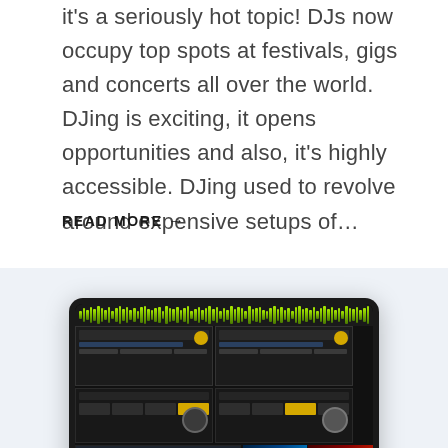it's a seriously hot topic! DJs now occupy top spots at festivals, gigs and concerts all over the world. DJing is exciting, it opens opportunities and also, it's highly accessible. DJing used to revolve around expensive setups of…
READ MORE →
[Figure (screenshot): Screenshot of a DJ software interface displayed on a tablet/iPad, showing waveforms, deck controls, effects panels, playlist, and thumbnail grid of album art.]